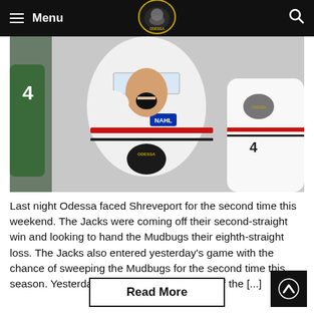Menu | [Logo] | Search
[Figure (photo): Hockey player in white NAHL Odessa jersey celebrating with mouth open, wearing helmet with visor, teammates visible in background]
Last night Odessa faced Shreveport for the second time this weekend. The Jacks were coming off their second-straight win and looking to hand the Mudbugs their eighth-straight loss. The Jacks also entered yesterday's game with the chance of sweeping the Mudbugs for the second time this season. Yesterday was also the final game of the [...]
Read More